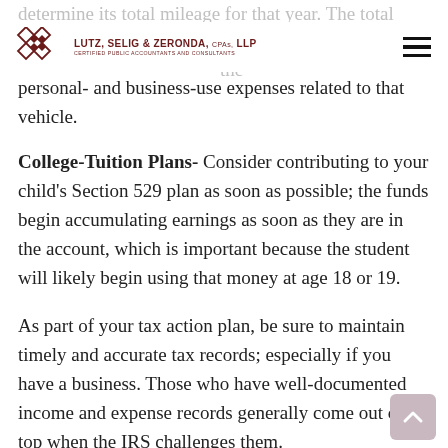LUTZ, SELIG & ZERONDA, CPAs, LLP — CERTIFIED PUBLIC ACCOUNTANTS AND CONSULTANTS
determine its total mileage for that year. The total [amount] used when prorating the personal- and business-use expenses related to that vehicle.
College-Tuition Plans- Consider contributing to your child's Section 529 plan as soon as possible; the funds begin accumulating earnings as soon as they are in the account, which is important because the student will likely begin using that money at age 18 or 19.
As part of your tax action plan, be sure to maintain timely and accurate tax records; especially if you have a business. Those who have well-documented income and expense records generally come out on top when the IRS challenges them.